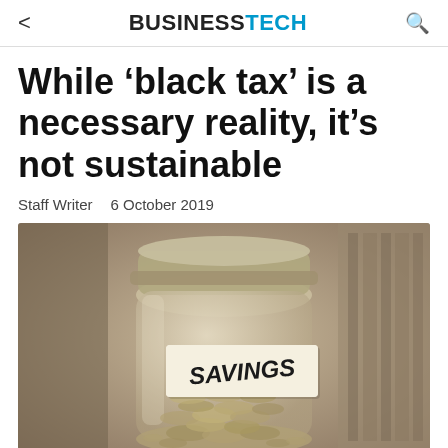BUSINESSTECH
While ‘black tax’ is a necessary reality, it’s not sustainable
Staff Writer   6 October 2019
[Figure (photo): A glass jar filled with coins labeled SAVINGS in bold handwritten text on a paper tag, photographed in sepia/monochrome tones]